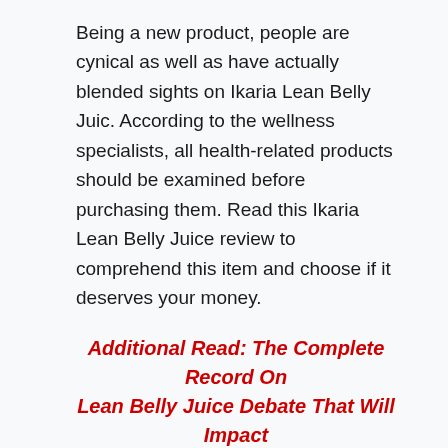Being a new product, people are cynical as well as have actually blended sights on Ikaria Lean Belly Juic. According to the wellness specialists, all health-related products should be examined before purchasing them. Read this Ikaria Lean Belly Juice review to comprehend this item and choose if it deserves your money.
Additional Read: The Complete Record On Lean Belly Juice Debate That Will Impact Your Mind
Losing weight significantly boosts life, and these advantages are not simply limited to the external look. A person really feels a lot more active, energised, pleased, as well as positive when he is health...